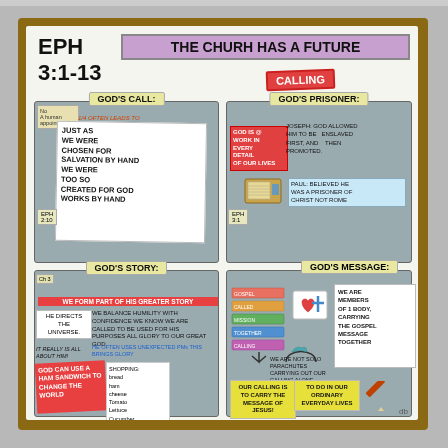EPH 3:1-13
THE CHURCH HAS A FUTURE CALLING
GOD'S CALL:
GOD'S PRISONER:
GOD'S STORY:
GOD'S MESSAGE:
[Figure (illustration): Hand-drawn sketchnote illustration of Ephesians 3:1-13 divided into four quadrants: God's Call (top-left), God's Prisoner (top-right), God's Story (bottom-left), God's Message (bottom-right). Contains notes, banners, sticky notes, icons (radio, book, cross, bird), and colourful text about the church's calling, Paul as a prisoner of Christ, God's greater story, and carrying the gospel message together.]